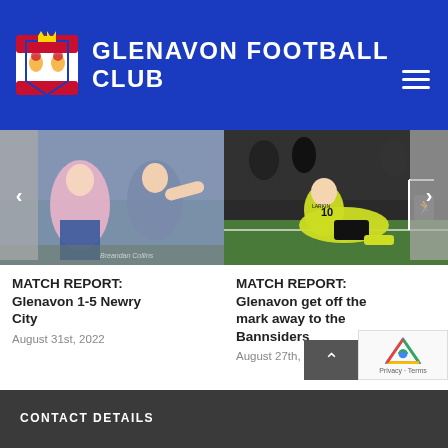GLENAVON FOOTBALL CLUB
[Figure (photo): Left card: women's football match action photo]
MATCH REPORT: Glenavon 1-5 Newry City
August 31st, 2022
[Figure (photo): Right card: player wearing yellow #10 jersey sliding on grass]
MATCH REPORT: Glenavon get off the mark away to the Bannsiders
August 27th, 2022
CONTACT DETAILS